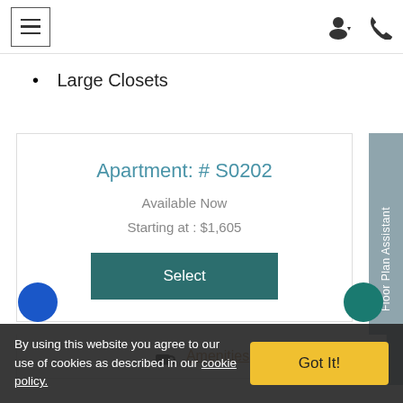Navigation bar with hamburger menu and icons
Large Closets
Apartment: # S0202
Available Now
Starting at : $1,605
Select
Floor Plan Assistant
Amenities
By using this website you agree to our use of cookies as described in our cookie policy.
Got It!